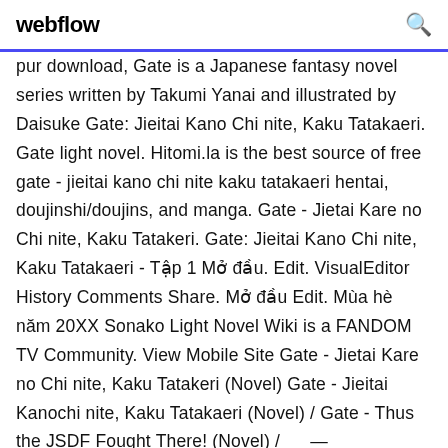webflow
pur download, Gate is a Japanese fantasy novel series written by Takumi Yanai and illustrated by Daisuke Gate: Jieitai Kano Chi nite, Kaku Tatakaeri. Gate light novel. Hitomi.la is the best source of free gate - jieitai kano chi nite kaku tatakaeri hentai, doujinshi/doujins, and manga. Gate - Jietai Kare no Chi nite, Kaku Tatakeri. Gate: Jieitai Kano Chi nite, Kaku Tatakaeri - Tập 1 Mở đầu. Edit. VisualEditor History Comments Share. Mở đầu Edit. Mùa hè năm 20XX Sonako Light Novel Wiki is a FANDOM TV Community. View Mobile Site Gate - Jietai Kare no Chi nite, Kaku Tatakeri (Novel) Gate - Jieitai Kanochi nite, Kaku Tatakaeri (Novel) / Gate - Thus the JSDF Fought There! (Novel) /     —